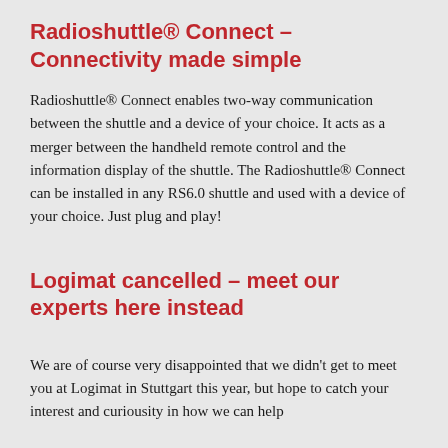Radioshuttle® Connect – Connectivity made simple
Radioshuttle® Connect enables two-way communication between the shuttle and a device of your choice. It acts as a merger between the handheld remote control and the information display of the shuttle. The Radioshuttle® Connect can be installed in any RS6.0 shuttle and used with a device of your choice. Just plug and play!
Logimat cancelled – meet our experts here instead
We are of course very disappointed that we didn't get to meet you at Logimat in Stuttgart this year, but hope to catch your interest and curiousity in how we can help